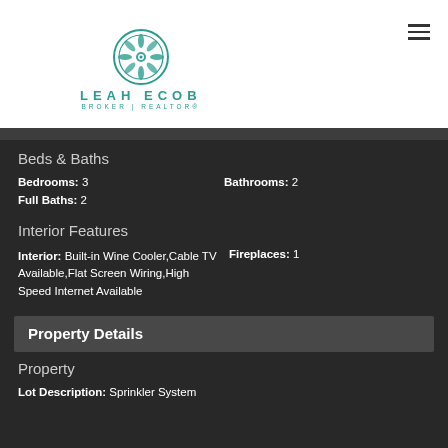LEAH ECOB BROKER | REALTOR
Beds & Baths
Bedrooms: 3
Bathrooms: 2
Full Baths: 2
Interior Features
Interior: Built-in Wine Cooler,Cable TV Available,Flat Screen Wiring,High Speed Internet Available
Fireplaces: 1
Property Details
Property
Lot Description: Sprinkler System